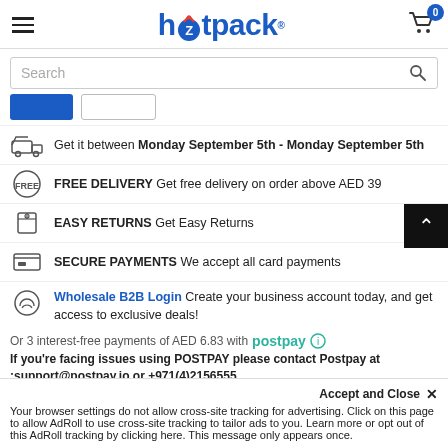hotpack
Search
Get it between Monday September 5th - Monday September 5th
FREE DELIVERY Get free delivery on order above AED 39
EASY RETURNS Get Easy Returns
SECURE PAYMENTS We accept all card payments
Wholesale B2B Login Create your business account today, and get access to exclusive deals!
Or 3 interest-free payments of AED 6.83 with postpay
If you're facing issues using POSTPAY please contact Postpay at :support@postpay.io or +971(4)2156555
Subtotal: AED 20.50
Accept and Close ×
Your browser settings do not allow cross-site tracking for advertising. Click on this page to allow AdRoll to use cross-site tracking to tailor ads to you. Learn more or opt out of this AdRoll tracking by clicking here. This message only appears once.